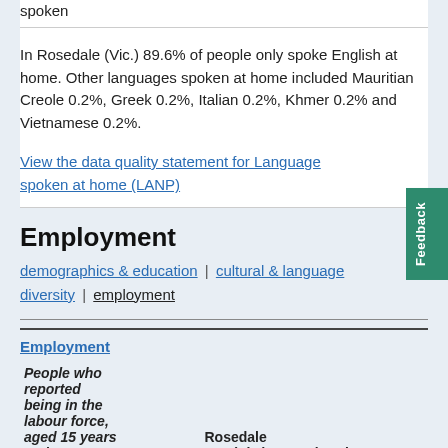spoken
In Rosedale (Vic.) 89.6% of people only spoke English at home. Other languages spoken at home included Mauritian Creole 0.2%, Greek 0.2%, Italian 0.2%, Khmer 0.2% and Vietnamese 0.2%.
View the data quality statement for Language spoken at home (LANP)
Employment
demographics & education | cultural & language diversity | employment
| People who reported being in the labour force, aged 15 years and over | Rosedale (Vic.) | % | Victoria | % | Aust |
| --- | --- | --- | --- | --- | --- |